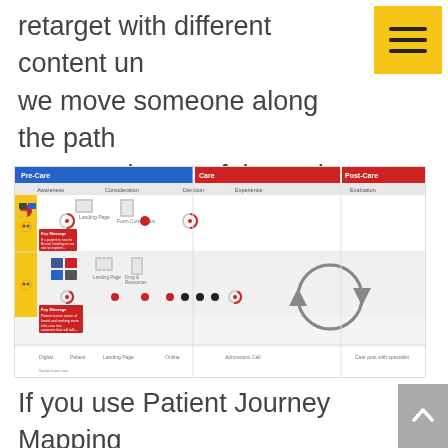retarget with different content until we move someone along the path or, conversely, out of the path.
[Figure (infographic): Patient Journey Map showing Pre-Care, Care, and Post-Care phases with Awareness, Consideration, Decision, Experience, and Evaluation stages. Multiple patient personas shown as rows with touchpoints, key messages, and a circular retention cycle diagram.]
If you use Patient Journey Mapping effectively, you'll know which of your